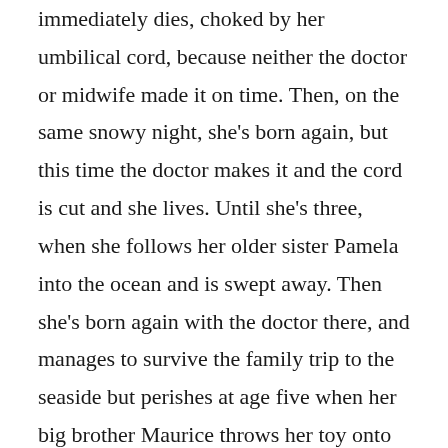immediately dies, choked by her umbilical cord, because neither the doctor or midwife made it on time. Then, on the same snowy night, she's born again, but this time the doctor makes it and the cord is cut and she lives. Until she's three, when she follows her older sister Pamela into the ocean and is swept away. Then she's born again with the doctor there, and manages to survive the family trip to the seaside but perishes at age five when her big brother Maurice throws her toy onto the roof and she tries to scramble after it but falls. And so on and so forth. She doesn't remember her previous lives, per se, but has strong feelings about crucial events that drive her to new actions in the face of them.